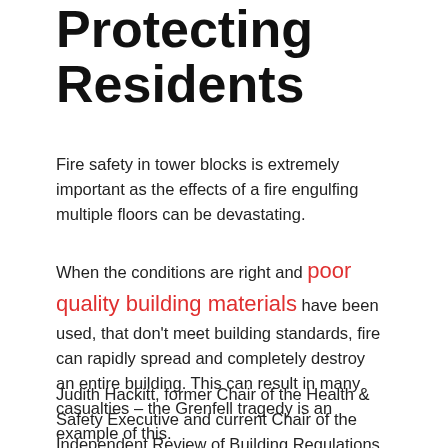Protecting Residents
Fire safety in tower blocks is extremely important as the effects of a fire engulfing multiple floors can be devastating.
When the conditions are right and poor quality building materials have been used, that don't meet building standards, fire can rapidly spread and completely destroy an entire building. This can result in many casualties – the Grenfell tragedy is an example of this.
Judith Hackitt, former Chair of the Health & Safety Executive and current Chair of the Independent Review of Building Regulations and Fire Safety, which was commissioned by the Government following the Grenfell Tower fire,